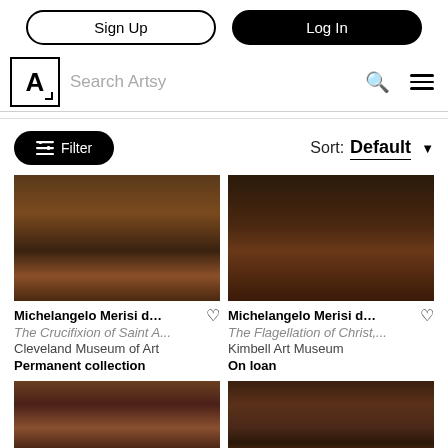Sign Up | Log In
Search Artsy
Filter | Sort: Default
[Figure (photo): Caravaggio painting - The Crucifixion of Saint A... - dark Baroque painting with figures]
Michelangelo Merisi d… ♡
The Crucifixion of Saint A...
Cleveland Museum of Art
Permanent collection
[Figure (photo): Caravaggio painting - The Flagellation of Christ - dark Baroque painting with figures]
Michelangelo Merisi d… ♡
The Flagellation of Christ,...
Kimbell Art Museum
On loan
[Figure (photo): Caravaggio painting - dark Baroque painting with multiple figures including a woman and young men]
[Figure (photo): Caravaggio painting - dark Baroque painting with figures at a table]